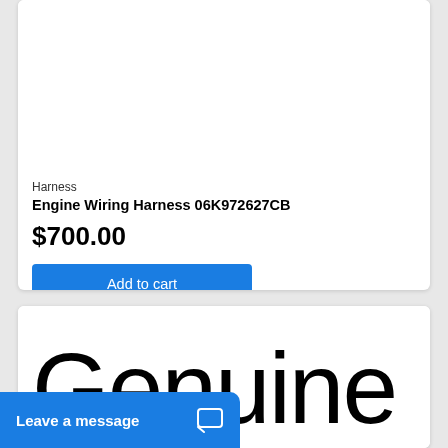Harness
Engine Wiring Harness 06K972627CB
$700.00
Add to cart
[Figure (screenshot): Product listing card showing Engine Wiring Harness with price $700.00 and Add to cart button]
[Figure (screenshot): Second product card showing large text 'Genuine' partially visible]
Leave a message